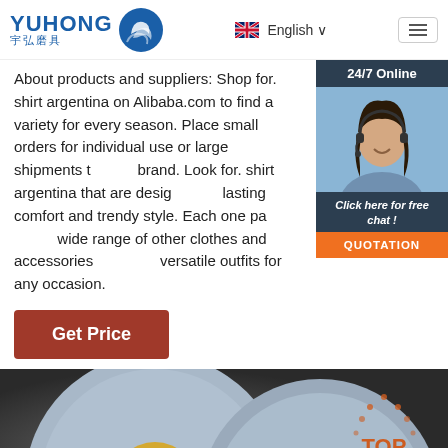[Figure (logo): YUHONG logo with Chinese characters 宇弘磨具 and blue wave icon]
English
About products and suppliers: Shop for. shirt argentina on Alibaba.com to find a variety for every season. Place small orders for individual use or large shipments to brand. Look for. shirt argentina that are designed for lasting comfort and trendy style. Each one pairs with a wide range of other clothes and accessories to create versatile outfits for any occasion.
24/7 Online
[Figure (photo): Customer service agent woman wearing headset smiling]
Click here for free chat !
QUOTATION
Get Price
[Figure (photo): Two blue grinding wheels/abrasive discs with yellow centers on dark background with TOP badge]